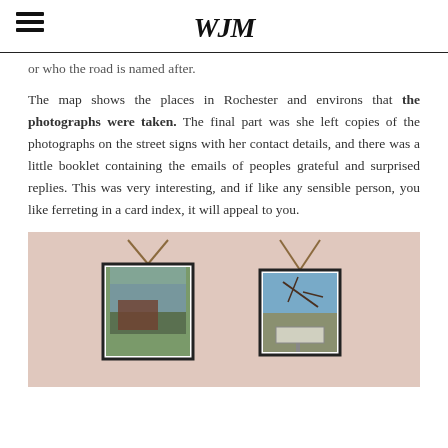WJM
or who the road is named after.
The map shows the places in Rochester and environs that the photographs were taken.  The final part was she left copies of the photographs on the street signs with her contact details, and there was a little booklet containing the emails of peoples grateful and surprised replies.  This was very interesting, and if like any sensible person, you like ferreting in a card index, it will appeal to you.
[Figure (photo): Two framed photographs hanging on a pinkish wall. Each frame is suspended by a rope/cord in an inverted triangle shape. The left frame contains a photograph of a building with greenery. The right frame contains a photograph of tree branches and what appears to be a street sign.]